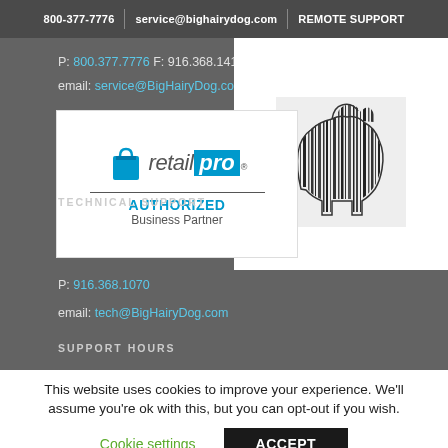800-377-7776 | service@bighairydog.com | REMOTE SUPPORT
P: 800.377.7776 F: 916.368.1411
email: service@BigHairyDog.com
[Figure (logo): Retail Pro Authorized Business Partner badge with shopping bag icon]
[Figure (logo): Big Hairy Dog barcode dog logo on white background]
TECHNICAL SUPPORT
P: 916.368.1070
email: tech@BigHairyDog.com
SUPPORT HOURS
This website uses cookies to improve your experience. We'll assume you're ok with this, but you can opt-out if you wish.
Cookie settings
ACCEPT